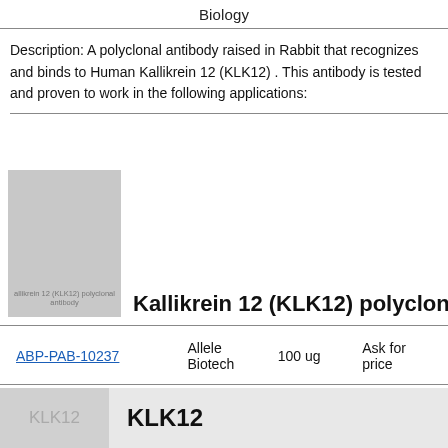Biology
Description: A polyclonal antibody raised in Rabbit that recognizes and binds to Human Kallikrein 12 (KLK12) . This antibody is tested and proven to work in the following applications:
[Figure (photo): Thumbnail image of Kallikrein 12 (KLK12) polyclonal antibody product with label text]
Kallikrein 12 (KLK12) polyclonal antibod
|  | Allele Biotech | 100 ug | Ask for price |
| --- | --- | --- | --- |
| ABP-PAB-10237 | Allele Biotech | 100 ug | Ask for price |
[Figure (photo): Thumbnail image showing KLK12 label]
KLK12